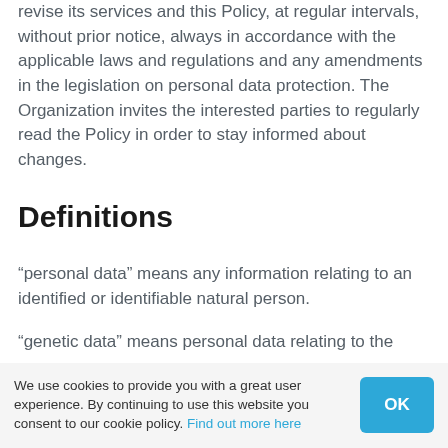revise its services and this Policy, at regular intervals, without prior notice, always in accordance with the applicable laws and regulations and any amendments in the legislation on personal data protection. The Organization invites the interested parties to regularly read the Policy in order to stay informed about changes.
Definitions
“personal data” means any information relating to an identified or identifiable natural person.
“genetic data” means personal data relating to the
We use cookies to provide you with a great user experience. By continuing to use this website you consent to our cookie policy. Find out more here